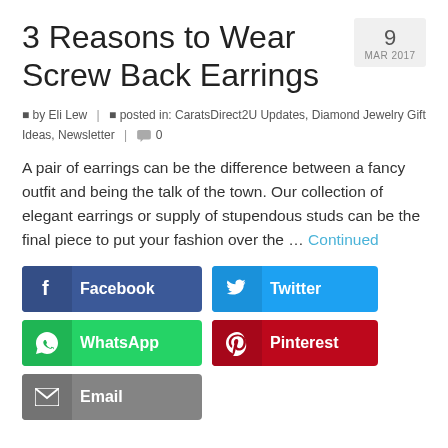3 Reasons to Wear Screw Back Earrings
9 MAR 2017
by Eli Lew | posted in: CaratsDirect2U Updates, Diamond Jewelry Gift Ideas, Newsletter | 0
A pair of earrings can be the difference between a fancy outfit and being the talk of the town. Our collection of elegant earrings or supply of stupendous studs can be the final piece to put your fashion over the … Continued
[Figure (infographic): Social share buttons: Facebook (dark blue), Twitter (light blue), WhatsApp (green), Pinterest (red), Email (grey)]